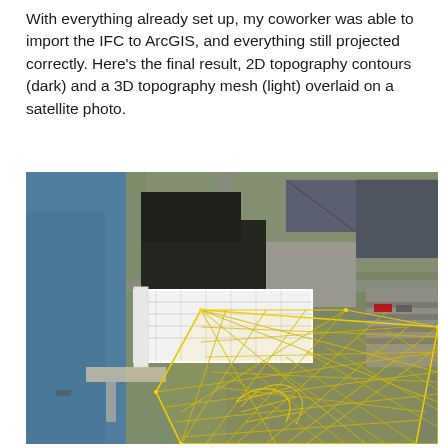With everything already set up, my coworker was able to import the IFC to ArcGIS, and everything still projected correctly. Here's the final result, 2D topography contours (dark) and a 3D topography mesh (light) overlaid on a satellite photo.
[Figure (photo): Satellite aerial photo showing buildings near water, with a white 2D topography contour overlay and a yellow 3D topography mesh overlay on top of the landscape.]